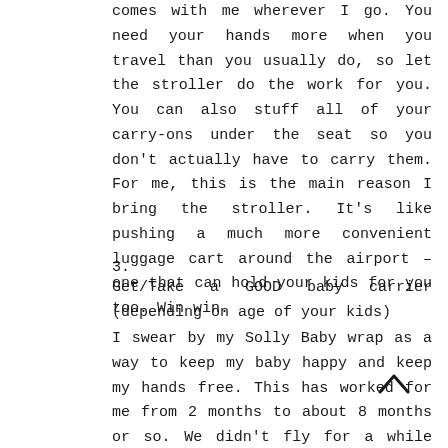comes with me wherever I go. You need your hands more when you travel than you usually do, so let the stroller do the work for you. You can also stuff all of your carry-ons under the seat so you don't actually have to carry them. For me, this is the main reason I bring the stroller. It's like pushing a much more convenient luggage cart around the airport – one that can hold your kids for you too. Win win.
3.
Get/Take a GOOD baby carrier (depending on age of your kids)
I swear by my Solly Baby wrap as a way to keep my baby happy and keep my hands free. This has worked for me from 2 months to about 8 months or so. We didn't fly for a while there between the time Evie was 8ish months until about 1.5, and once she was 1.5, she